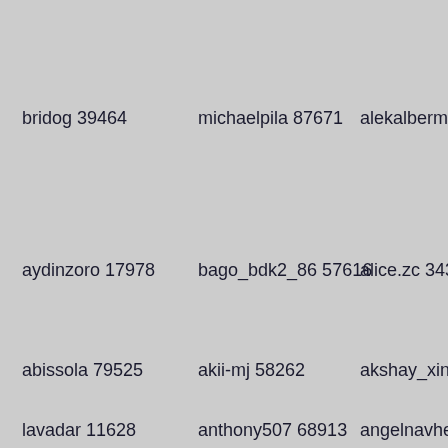bridog 39464
michaelpila 87671
alekalbermatte
aydinzoro 17978
bago_bdk2_86 57616
alice.zc 34337
abissola 79525
akii-mj 58262
akshay_xinix
lavadar 11628
anthony507 68913
angelnavher99